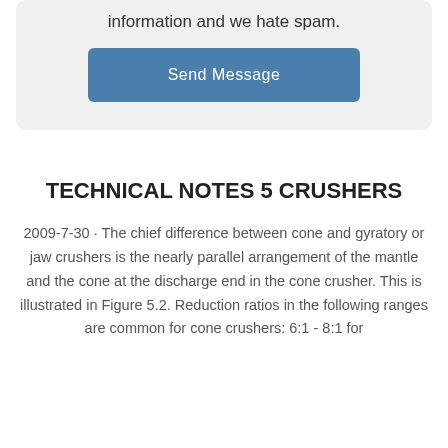information and we hate spam.
[Figure (other): Blue 'Send Message' button]
TECHNICAL NOTES 5 CRUSHERS
2009-7-30 · The chief difference between cone and gyratory or jaw crushers is the nearly parallel arrangement of the mantle and the cone at the discharge end in the cone crusher. This is illustrated in Figure 5.2. Reduction ratios in the following ranges are common for cone crushers: 6:1 - 8:1 for